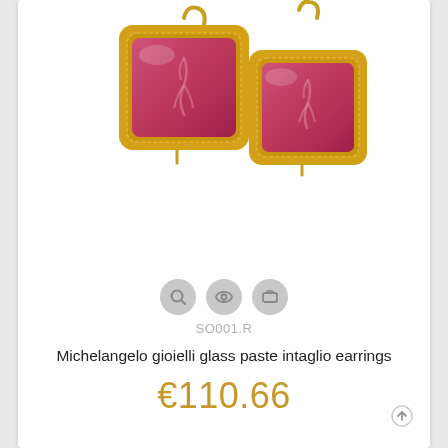[Figure (photo): Two gold-framed pink/magenta glass paste intaglio earrings with dangling hook, showing carved female figure motifs on rectangular faceted glass stones with rope-twist gold bezel setting]
SO001.R
Michelangelo gioielli glass paste intaglio earrings
€110.66